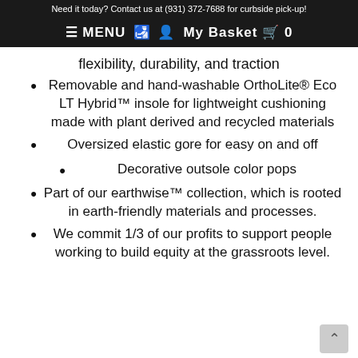Need it today? Contact us at (931) 372-7688 for curbside pick-up!
≡ MENU  🛋 👤  My Basket 🛒 0
flexibility, durability, and traction
Removable and hand-washable OrthoLite® Eco LT Hybrid™ insole for lightweight cushioning made with plant derived and recycled materials
Oversized elastic gore for easy on and off
Decorative outsole color pops
Part of our earthwise™ collection, which is rooted in earth-friendly materials and processes.
We commit 1/3 of our profits to support people working to build equity at the grassroots level.